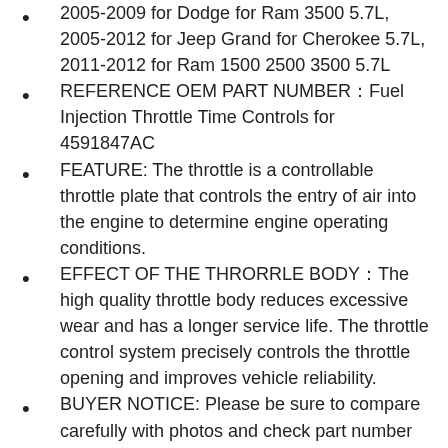2005-2009 for Dodge for Ram 3500 5.7L, 2005-2012 for Jeep Grand for Cherokee 5.7L, 2011-2012 for Ram 1500 2500 3500 5.7L
REFERENCE OEM PART NUMBER：Fuel Injection Throttle Time Controls for 4591847AC
FEATURE: The throttle is a controllable throttle plate that controls the entry of air into the engine to determine engine operating conditions.
EFFECT OF THE THRORRLE BODY：The high quality throttle body reduces excessive wear and has a longer service life. The throttle control system precisely controls the throttle opening and improves vehicle reliability.
BUYER NOTICE: Please be sure to compare carefully with photos and check part number